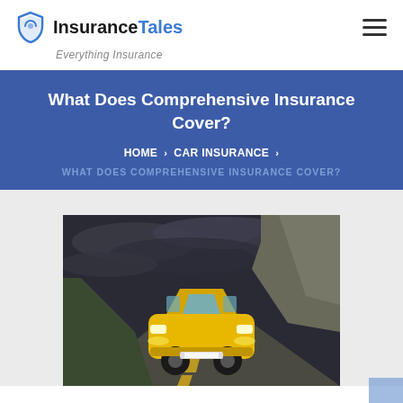InsuranceTales
Everything Insurance
What Does Comprehensive Insurance Cover?
HOME > CAR INSURANCE > WHAT DOES COMPREHENSIVE INSURANCE COVER?
[Figure (photo): Yellow car driving on a winding road with dramatic dark cloudy sky and rocky terrain in the background]